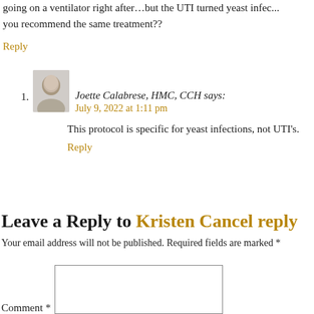going on a ventilator right after…but the UTI turned yeast infec... you recommend the same treatment??
Reply
Joette Calabrese, HMC, CCH says:
July 9, 2022 at 1:11 pm
This protocol is specific for yeast infections, not UTI's.
Reply
Leave a Reply to Kristen Cancel reply
Your email address will not be published. Required fields are marked *
Comment *